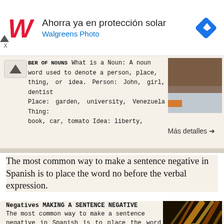[Figure (screenshot): Walgreens Photo advertisement banner with logo, text 'Ahorra ya en protección solar', 'Walgreens Photo', and a navigation/directions diamond icon]
BER OF NOUNS What is a Noun: A noun word used to denote a person, place, thing, or idea. Person: John, girl, dentist Place: garden, university, Venezuela Thing: book, car, tomato Idea: liberty,
Más detalles →
The most common way to make a sentence negative in Spanish is to place the word no before the verbal expression.
Negatives MAKING A SENTENCE NEGATIVE The most common way to make a sentence negative in Spanish is to place the word no before the verbal expression. Carlos conoce a Maria. Carlos no conoce a Maria. Los